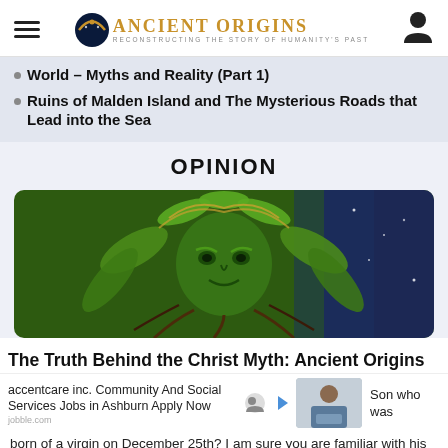Ancient Origins — Reconstructing The Story Of Humanity's Past
World – Myths and Reality (Part 1)
Ruins of Malden Island and The Mysterious Roads that Lead into the Sea
OPINION
[Figure (illustration): Decorative green nature face / Green Man illustration with leaves and vines forming a face, with purple/blue cosmic background on right side]
The Truth Behind the Christ Myth: Ancient Origins
accentcare inc. Community And Social Services Jobs in Ashburn Apply Now
jobble.com
Son who was born of a virgin on December 25th? I am sure you are familiar with his legend which states that he was born in a manger